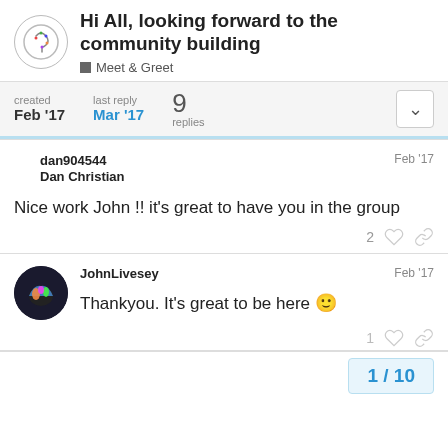Hi All, looking forward to the community building
Meet & Greet
| created | last reply | 9 replies |
| --- | --- | --- |
| Feb '17 | Mar '17 |  |
dan904544
Dan Christian
Feb '17
Nice work John !! it's great to have you in the group
JohnLivesey
Feb '17
Thankyou. It's great to be here 🙂
1 / 10